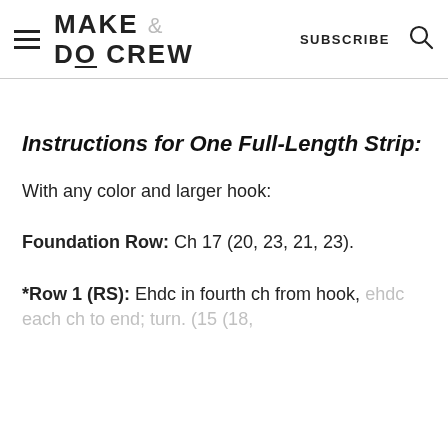MAKE & DO CREW | SUBSCRIBE
Instructions for One Full-Length Strip:
With any color and larger hook:
Foundation Row: Ch 17 (20, 23, 21, 23).
*Row 1 (RS): Ehdc in fourth ch from hook, ehdc each ch to end; turn. (15 (18,